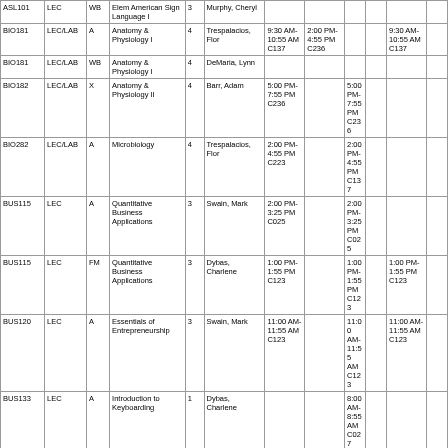| ASL101 | LEC | WB | Elem American Sign Language I | 3 | Murphy, Cheryl |  |  |  |  |  |  |
| BIO181 | LEC/LAB | A | Anatomy & Physiology I | 4 | Trespalacios, Flor | 9:30 AM-10:55 AM C137 | 2:00 PM-4:55 PM C236 |  |  | 9:30 AM-10:55 AM C137 |  |
| BIO181 | LEC/LAB | WB | Anatomy & Physiology I | 4 | DeMaria, Lynn |  |  |  |  |  |  |
| BIO182 | LEC/LAB | X | Anatomy & Physiology II | 4 | Barr, Adam | 5:00 PM-7:55 PM C236 |  | 5:00 PM-7:55 PM C236 |  |  |  |
| BIO282 | LEC/LAB | A | Microbiology | 4 | Trespalacios, Flor | 2:00 PM-4:55 PM C223 |  | 2:00 PM-4:55 PM C137 |  |  |  |
| BUS115 | LEC | A | Quantitative Business Applications | 3 | Swain, Mark | 2:00 PM-3:25 PM C025 |  | 2:00 PM-3:25 PM C025 |  |  |  |
| BUS115 | LEC | FM | Quantitative Business Applications | 3 | Dybas, Charlene | 1:00 PM-1:55 PM C123 |  | 1:00 PM-1:55 PM C123 |  | 1:00 PM-1:55 PM C123 |  |
| BUS120 | LEC | A | Essentials of Entrepreneurship | 3 | Swain, Mark | 11:00 AM-11:55 AM C123 |  | 11:00 AM-11:55 AM C123 |  | 11:00 AM-11:55 AM C123 |  |
| BUS133 | LEC | A | Introduction to Keyboarding | 1 | Dybas, Charlene |  |  | 8:00 AM-8:55 AM C027 |  |  |  |